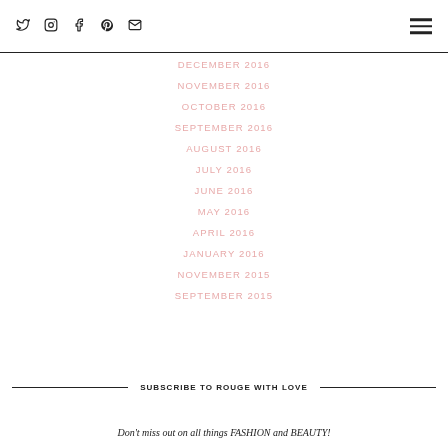Social icons (Twitter, Instagram, Facebook, Pinterest, Email) and hamburger menu
DECEMBER 2016
NOVEMBER 2016
OCTOBER 2016
SEPTEMBER 2016
AUGUST 2016
JULY 2016
JUNE 2016
MAY 2016
APRIL 2016
JANUARY 2016
NOVEMBER 2015
SEPTEMBER 2015
SUBSCRIBE TO ROUGE WITH LOVE
Don't miss out on all things FASHION and BEAUTY!